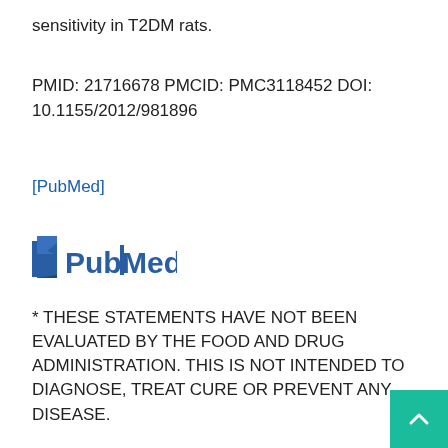sensitivity in T2DM rats.
PMID: 21716678 PMCID: PMC3118452 DOI: 10.1155/2012/981896
[PubMed]
[Figure (logo): PubMed logo with stylized book icon and blue text reading 'PubMed']
* THESE STATEMENTS HAVE NOT BEEN EVALUATED BY THE FOOD AND DRUG ADMINISTRATION. THIS IS NOT INTENDED TO DIAGNOSE, TREAT CURE OR PREVENT ANY DISEASE.